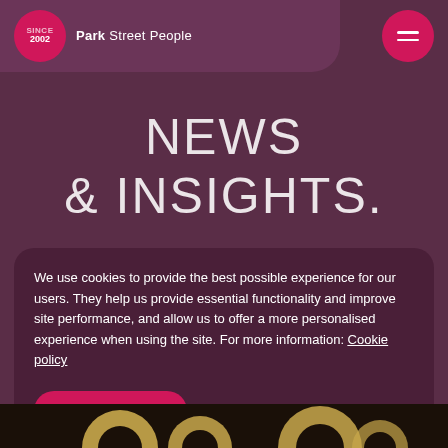Park Street People
NEWS & INSIGHTS.
We use cookies to provide the best possible experience for our users. They help us provide essential functionality and improve site performance, and allow us to offer a more personalised experience when using the site. For more information: Cookie policy
Accept cookies